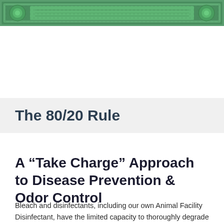[Figure (illustration): Decorative green banner/border with ornate floral and scroll pattern, resembling currency or certificate border design]
The 80/20 Rule
A “Take Charge” Approach to Disease Prevention & Odor Control
Bleach and disinfectants, including our own Animal Facility Disinfectant, have the limited capacity to thoroughly degrade and remove organic matter “THE HOST”. Embedded organic matter can be the root cause of recurring illness. The ProVetLogic 80/20 Rule addresses this issue. If you’d like to learn more about the 80/20 Rule and how you can put it to use in your facility to ensure the safety and well-being of animals and people alike give us a call or email to request the full